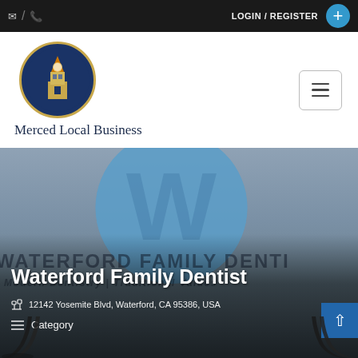LOGIN / REGISTER
[Figure (logo): Merced Local Business logo — circular emblem with a clock tower on dark blue background, with text 'Merced Local Business' below]
Waterford Family Dentist
12142 Yosemite Blvd, Waterford, CA 95386, USA
Category
[Figure (photo): Waterford Family Dentist signage banner showing a large blue W logo circle and text 'WATERFORD FAMILY DENTIST' and tagline 'Modern Dentistry | Traditional Values']